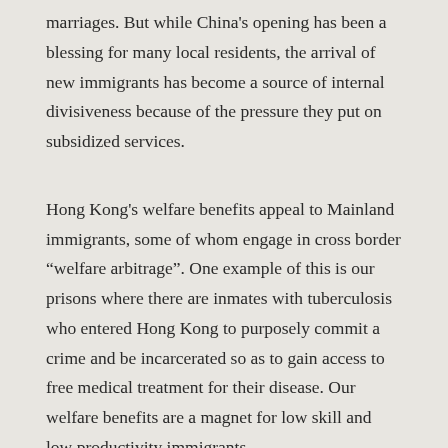marriages. But while China's opening has been a blessing for many local residents, the arrival of new immigrants has become a source of internal divisiveness because of the pressure they put on subsidized services.
Hong Kong's welfare benefits appeal to Mainland immigrants, some of whom engage in cross border “welfare arbitrage”. One example of this is our prisons where there are inmates with tuberculosis who entered Hong Kong to purposely commit a crime and be incarcerated so as to gain access to free medical treatment for their disease. Our welfare benefits are a magnet for low skill and low productivity immigrants.
The problem is worsened by the one-way permit system that